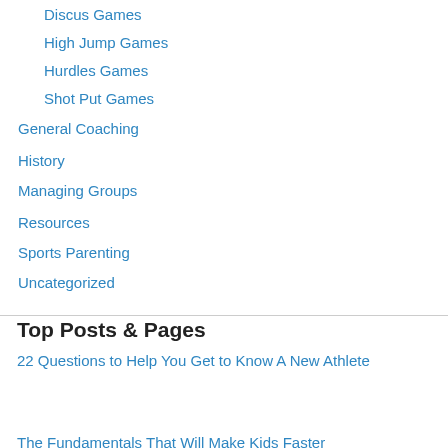Discus Games
High Jump Games
Hurdles Games
Shot Put Games
General Coaching
History
Managing Groups
Resources
Sports Parenting
Uncategorized
Top Posts & Pages
22 Questions to Help You Get to Know A New Athlete
Privacy & Cookies: This site uses cookies, including third part cookies. By continuing to use this website, you agree to their use. Cookie Policy
Close and accept
The Fundamentals That Will Make Kids Faster